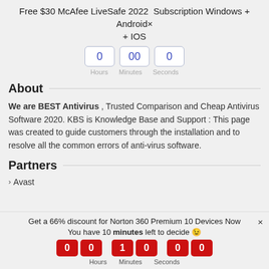Free $30 McAfee LiveSafe 2022 Subscription Windows + Android× + IOS
[Figure (other): Countdown timer showing 0 hours, 00 minutes, 0 seconds with outlined digit boxes]
About
We are BEST Antivirus , Trusted Comparison and Cheap Antivirus Software 2020. KBS is Knowledge Base and Support : This page was created to guide customers through the installation and to resolve all the common errors of anti-virus software.
Partners
Avast
Get a 66% discount for Norton 360 Premium 10 Devices Now × You have 10 minutes left to decide 😉
[Figure (other): Countdown timer bottom bar showing 0 0 hours, 1 0 minutes, 0 0 seconds in red digit boxes]